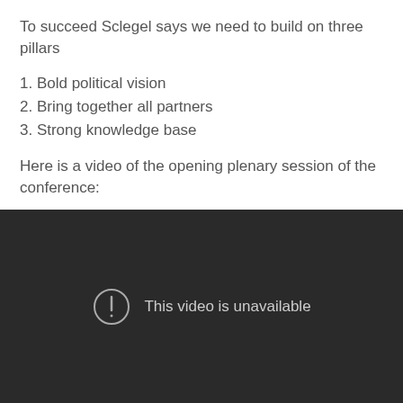To succeed Sclegel says we need to build on three pillars
1. Bold political vision
2. Bring together all partners
3. Strong knowledge base
Here is a video of the opening plenary session of the conference:
[Figure (screenshot): Embedded video player showing 'This video is unavailable' error message on a dark background.]